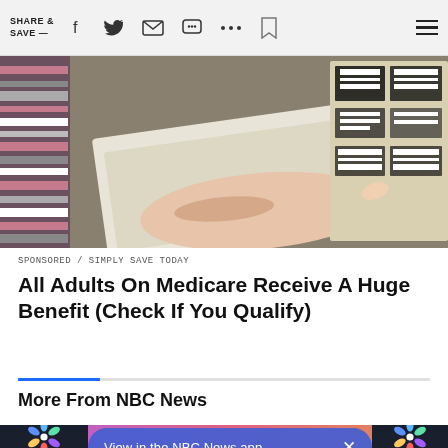SHARE & SAVE —
[Figure (photo): A hand holding a paper document with text, surrounded by other papers and documents on a table.]
SPONSORED / SIMPLY SAVE TODAY
All Adults On Medicare Receive A Huge Benefit (Check If You Qualify)
More From NBC News
[Figure (screenshot): NBC News app banner: 'View in the NBC News app' with close button, and NBC peacock logos on dark panels on left and right.]